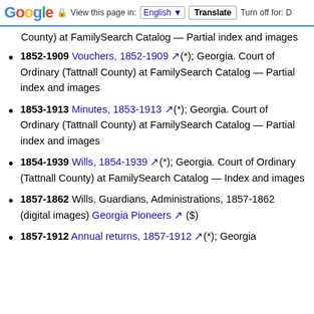Google | View this page in: English | Translate | Turn off for: D
County) at FamilySearch Catalog — Partial index and images
1852-1909 Vouchers, 1852-1909(*); Georgia. Court of Ordinary (Tattnall County) at FamilySearch Catalog — Partial index and images
1853-1913 Minutes, 1853-1913(*); Georgia. Court of Ordinary (Tattnall County) at FamilySearch Catalog — Partial index and images
1854-1939 Wills, 1854-1939(*); Georgia. Court of Ordinary (Tattnall County) at FamilySearch Catalog — Index and images
1857-1862 Wills, Guardians, Administrations, 1857-1862 (digital images) Georgia Pioneers ($)
1857-1912 Annual returns, 1857-1912(*); Georgia